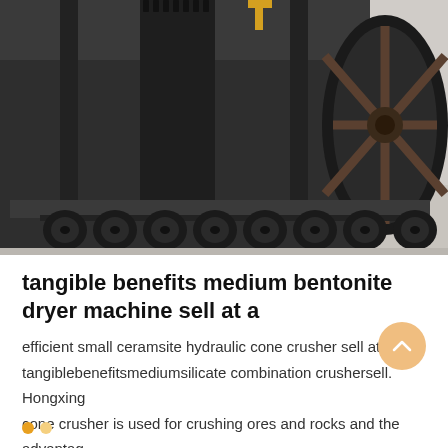[Figure (photo): Large industrial rotary dryer machine (dark cylindrical drum with gear ring and spoked end wheel) mounted on multi-axle transport trailer with many rubber tires, photographed outdoors on a concrete surface.]
tangible benefits medium bentonite dryer machine sell at a
efficient small ceramsite hydraulic cone crusher sell at a. tangiblebenefitsmediumsilicate combination crushersell. Hongxing cone crusher is used for crushing ores and rocks and the advantag…